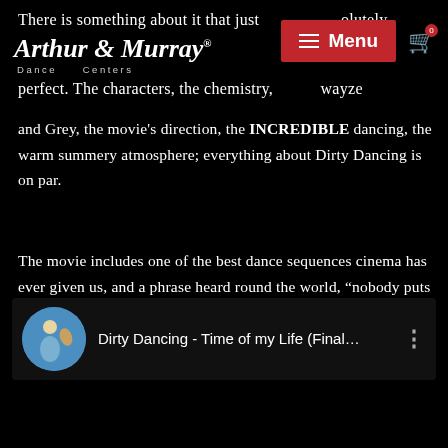Arthur Murray Dance Centers
There is something about it that just absolutely perfect. The characters, the chemistry, and Grey, the movie's direction, the INCREDIBLE dancing, the warm summery atmosphere; everything about Dirty Dancing is on par.
The movie includes one of the best dance sequences cinema has ever given us, and a phrase heard round the world, “nobody puts Baby in a corner”.
[Figure (screenshot): Video thumbnail card showing 'Dirty Dancing - Time of my Life (Final...' with circular thumbnail image and three-dot menu icon]